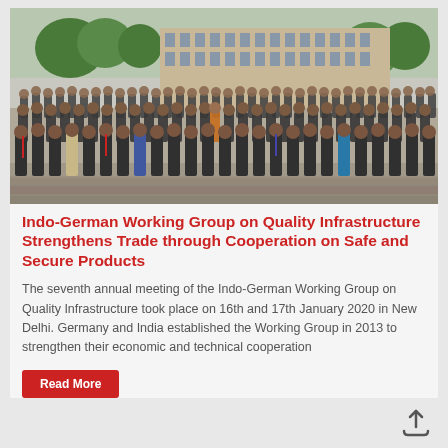[Figure (photo): Group photo of participants at the seventh annual meeting of the Indo-German Working Group on Quality Infrastructure, taken outdoors in front of a building with trees in the background, approximately 80-100 people standing in rows.]
Indo-German Working Group on Quality Infrastructure Strengthens Trade through Cooperation on Safe and Secure Products
The seventh annual meeting of the Indo-German Working Group on Quality Infrastructure took place on 16th and 17th January 2020 in New Delhi. Germany and India established the Working Group in 2013 to strengthen their economic and technical cooperation